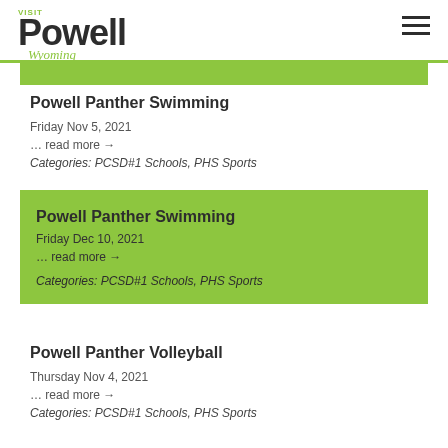Visit Powell Wyoming
Powell Panther Swimming
Friday Nov 5, 2021
... read more →
Categories: PCSD#1 Schools, PHS Sports
Powell Panther Swimming
Friday Dec 10, 2021
... read more →
Categories: PCSD#1 Schools, PHS Sports
Powell Panther Volleyball
Thursday Nov 4, 2021
... read more →
Categories: PCSD#1 Schools, PHS Sports